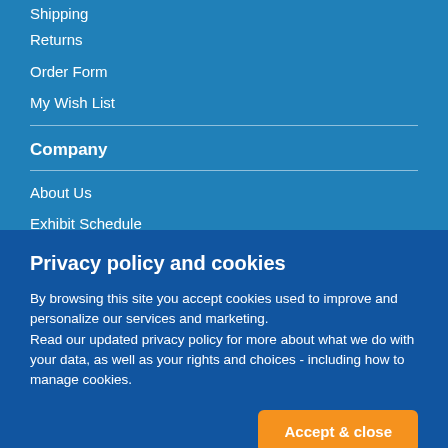Shipping
Returns
Order Form
My Wish List
Company
About Us
Exhibit Schedule
Our Consultants
Privacy policy and cookies
By browsing this site you accept cookies used to improve and personalize our services and marketing.
Read our updated privacy policy for more about what we do with your data, as well as your rights and choices - including how to manage cookies.